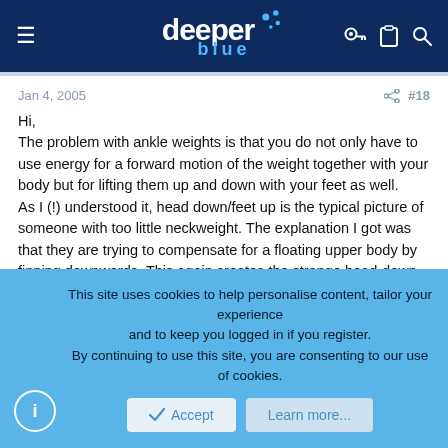deeper blue — site header navigation
Jan 4, 2005   #18
Hi,
The problem with ankle weights is that you do not only have to use energy for a forward motion of the weight together with your body but for lifting them up and down with your feet as well.
As I (!) understood it, head down/feet up is the typical picture of someone with too little neckweight. The explanation I got was that they are trying to compensate for a floating upper body by finning downwards. This again creates the strange head-down-feet-up position.

Just my 2 cents though.
This site uses cookies to help personalise content, tailor your experience and to keep you logged in if you register.
By continuing to use this site, you are consenting to our use of cookies.